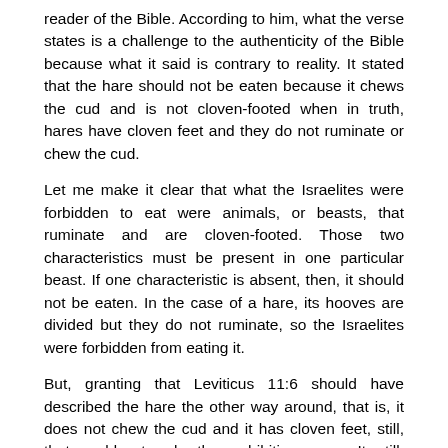reader of the Bible. According to him, what the verse states is a challenge to the authenticity of the Bible because what it said is contrary to reality. It stated that the hare should not be eaten because it chews the cud and is not cloven-footed when in truth, hares have cloven feet and they do not ruminate or chew the cud.
Let me make it clear that what the Israelites were forbidden to eat were animals, or beasts, that ruminate and are cloven-footed. Those two characteristics must be present in one particular beast. If one characteristic is absent, then, it should not be eaten. In the case of a hare, its hooves are divided but they do not ruminate, so the Israelites were forbidden from eating it.
But, granting that Leviticus 11:6 should have described the hare the other way around, that is, it does not chew the cud and it has cloven feet, still, that would not make the prohibition wrong. It, still, should not be eaten because one of the characteristics of a beast or animal that should be eaten is absent.
Indeed, there are people who challenge the authenticity of the Bible. They are those who do not consider human error. They also challenge the Bible for reasons which could be and are